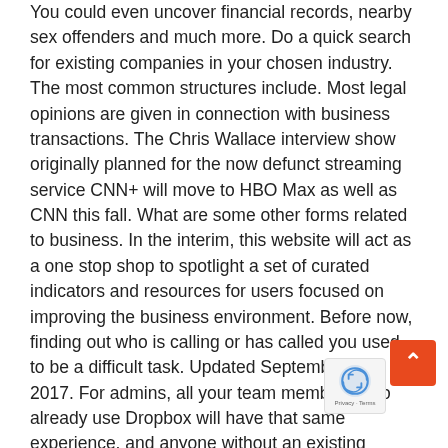You could even uncover financial records, nearby sex offenders and much more. Do a quick search for existing companies in your chosen industry. The most common structures include. Most legal opinions are given in connection with business transactions. The Chris Wallace interview show originally planned for the now defunct streaming service CNN+ will move to HBO Max as well as CNN this fall. What are some other forms related to business. In the interim, this website will act as a one stop shop to spotlight a set of curated indicators and resources for users focused on improving the business environment. Before now, finding out who is calling or has called you used to be a difficult task. Updated September 28, 2017. For admins, all your team members who already use Dropbox will have that same experience, and anyone without an existing Dropbox account will be prompted to sign up when you send them an invite. A related—but identical—term, scientific consensus, is the prevailing on a scientific topic within the scientific community, su the scientific opinion on climate change. Whatever the case
[Figure (other): Orange scroll-to-top button with upward chevron arrow, and a reCAPTCHA badge with Privacy - Terms text, positioned in the bottom-right corner of the page.]